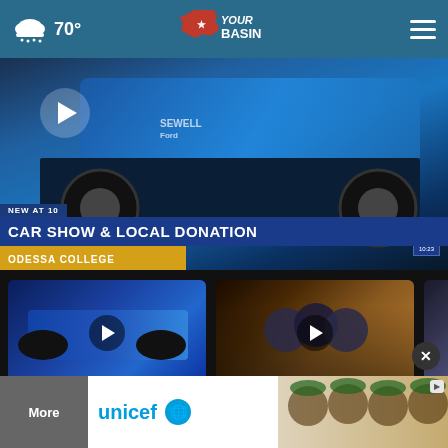70° YourBasin [hamburger menu]
[Figure (screenshot): Hero video thumbnail: Ford truck (blue, Sewell Ford branding) at car show. Play button overlay. Lower third: 'NEW AT 10 / CAR SHOW & LOCAL DONATION / ODESSA COLLEGE' with ABC2 station bug.]
[Figure (screenshot): Thumbnail card: Blue rally car. Play button overlay. Title: 'Odessa College Car Show Benefits Local...' Time: '5 hours ago']
[Figure (screenshot): Thumbnail card: Football players huddle at sunset. Play button overlay. Title: '30 in 15: Greenwood Rangers' Time: '6 hours ago']
[Figure (screenshot): Partial thumbnail card: People in winter gear (cropped). Title starts '30 in 1...']
[Figure (screenshot): Advertisement banner: UNICEF logo with children in green hats. 'More' label on left gray section.]